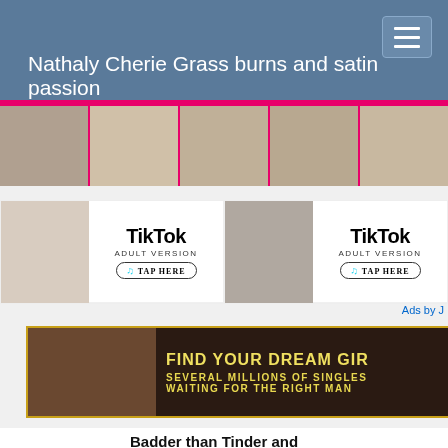Nathaly Cherie Grass burns and satin passion
[Figure (screenshot): Thumbnail strip of adult content images with pink and magenta border]
[Figure (screenshot): TikTok Adult Version advertisement banner - TAP HERE, two side by side]
Ads by J
[Figure (infographic): FIND YOUR DREAM GIRL - SEVERAL MILLIONS OF SINGLES WAITING FOR THE RIGHT MAN banner ad]
Badder than Tinder and better than Tik-Tok - Secret Sex Meetings
Besecret.com Sex Dates >